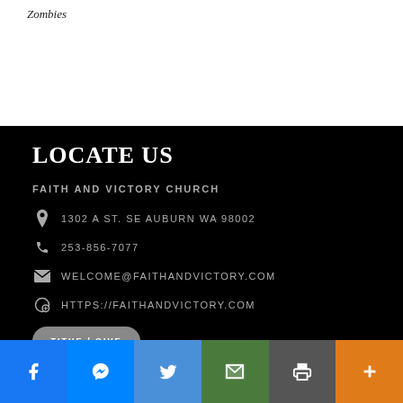Zombies
LOCATE US
FAITH AND VICTORY CHURCH
1302 A ST. SE AUBURN WA 98002
253-856-7077
WELCOME@FAITHANDVICTORY.COM
HTTPS://FAITHANDVICTORY.COM
TITHE / GIVE
Facebook | Messenger | Twitter | Email | Print | More